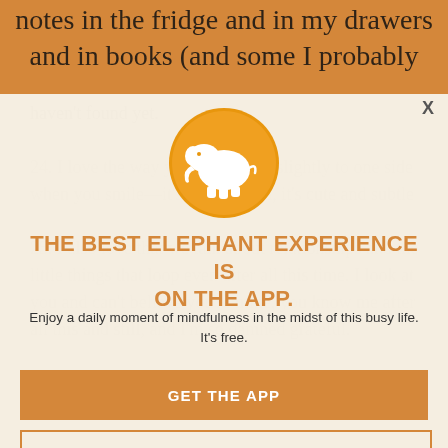notes in the fridge and in my drawers and in books (and some I probably haven't found yet.
24. I love the way your lips curve slightly to one side when you smile—it's not crooked, it's cute and subtle
25. I also love that we talk about relationships and the little things that loop even after all this time. I look at you and can't believe you're mine, you know me after all this and still, and I'm so damned grateful.
[Figure (logo): Orange circle with white elephant silhouette icon for the Elephant app]
THE BEST ELEPHANT EXPERIENCE IS ON THE APP.
Enjoy a daily moment of mindfulness in the midst of this busy life. It's free.
GET THE APP
OPEN IN APP